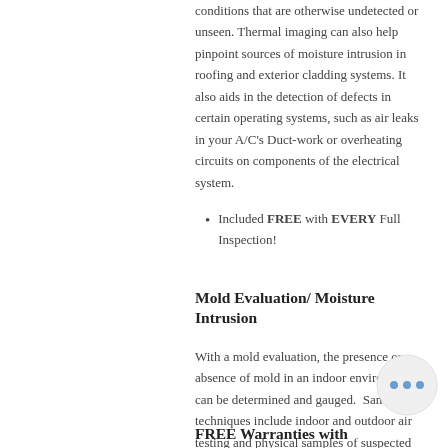conditions that are otherwise undetected or unseen. Thermal imaging can also help pinpoint sources of moisture intrusion in roofing and exterior cladding systems. It also aids in the detection of defects in certain operating systems, such as air leaks in your A/C's Duct-work or overheating circuits on components of the electrical system.
Included FREE with EVERY Full Inspection!
Mold Evaluation/ Moisture Intrusion
With a mold evaluation, the presence or absence of mold in an indoor environment can be determined and gauged.  Sampling techniques include indoor and outdoor air testing and physical samples of suspected microbial activity.
FREE Warranties with